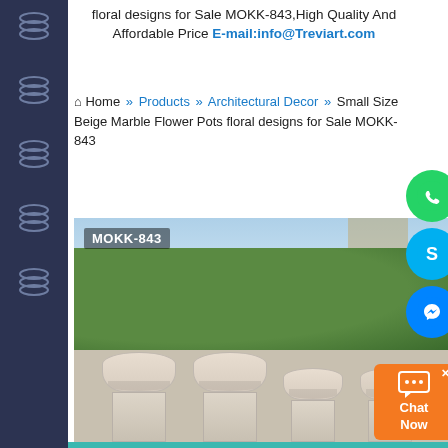floral designs for Sale MOKK-843,High Quality And Affordable Price E-mail:info@Treviart.com
Home » Products » Architectural Decor » Small Size Beige Marble Flower Pots floral designs for Sale MOKK-843
[Figure (photo): Four beige marble flower pots with floral relief designs on square pedestals, lined up in front of a green hedge. Photo labeled MOKK-843.]